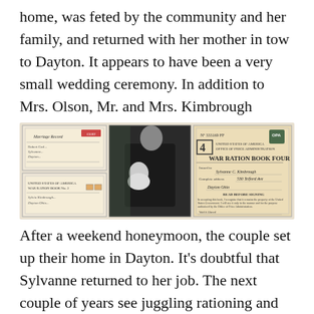home, was feted by the community and her family, and returned with her mother in tow to Dayton. It appears to have been a very small wedding ceremony. In addition to Mrs. Olson, Mr. and Mrs. Kimbrough attended from Guthrie, Kentucky; no other family is mentioned. Bob has been promoted to Captain by this time.
[Figure (photo): Three historical documents and a black-and-white photograph. Top left: a Marriage Record document. Bottom left: a War Ration Book No. 2 document. Center: a black-and-white photo of a person in dark clothing holding a baby. Right: a War Ration Book Four (No. 333169 FF) issued to Sylvanne C. Kimbrough, 530 Telford Ave, Dayton Ohio, United States of America Office of Price Administration.]
After a weekend honeymoon, the couple set up their home in Dayton. It's doubtful that Sylvanne returned to her job. The next couple of years see juggling rationing and other wartime challenges, although Bob continues to be stationed at Wright Field due to his military assignment. Landon is born in January of